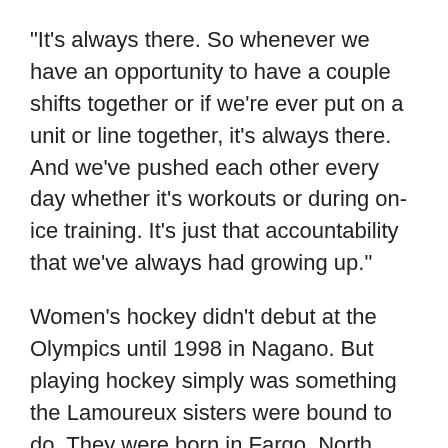"It's always there. So whenever we have an opportunity to have a couple shifts together or if we're ever put on a unit or line together, it's always there. And we've pushed each other every day whether it's workouts or during on-ice training. It's just that accountability that we've always had growing up."
Women's hockey didn't debut at the Olympics until 1998 in Nagano. But playing hockey simply was something the Lamoureux sisters were bound to do. They were born in Fargo, North Dakota. Their father, Pierre, played. He played for the University of North Dakota. And all four of their brothers played hockey in college. Brother Jacque was a Hobey Baker finalist. That was in 2009 with Air Force.
The Lamoureux sisters played a year in college at